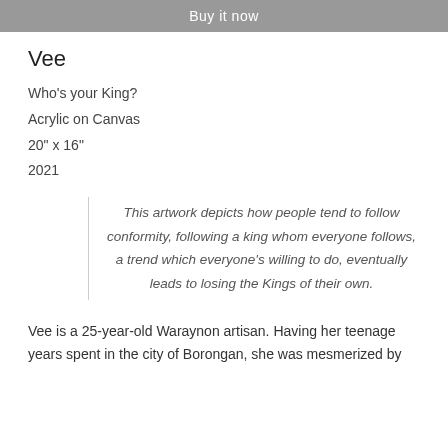Buy it now
Vee
Who's your King?
Acrylic on Canvas
20" x 16"
2021
This artwork depicts how people tend to follow conformity, following a king whom everyone follows, a trend which everyone's willing to do, eventually leads to losing the Kings of their own.
Vee is a 25-year-old Waraynon artisan. Having her teenage years spent in the city of Borongan, she was mesmerized by